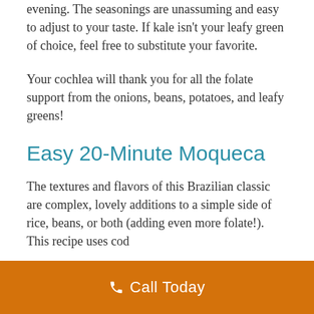evening. The seasonings are unassuming and easy to adjust to your taste. If kale isn't your leafy green of choice, feel free to substitute your favorite.
Your cochlea will thank you for all the folate support from the onions, beans, potatoes, and leafy greens!
Easy 20-Minute Moqueca
The textures and flavors of this Brazilian classic are complex, lovely additions to a simple side of rice, beans, or both (adding even more folate!). This recipe uses cod
Call Today